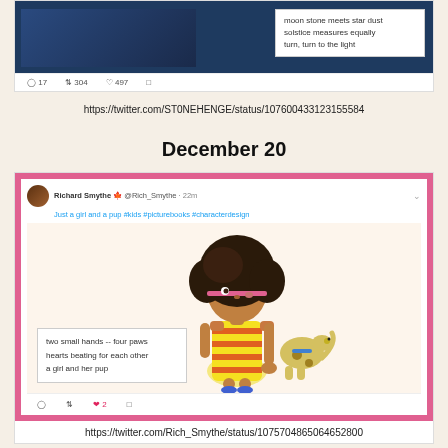[Figure (screenshot): Twitter screenshot with dark background image and popup text: 'moon stone meets star dust / solstice measures equally / turn, turn to the light' with action bar showing 17 comments, 304 retweets, 497 likes]
https://twitter.com/ST0NEHENGE/status/107600433123155584
December 20
[Figure (screenshot): Twitter screenshot by Richard Smythe (@Rich_Smythe) with pink border showing cartoon illustration of a girl with afro holding a puppy, with popup poem: 'two small hands -- four paws / hearts beating for each other / a girl and her pup', with 2 likes]
https://twitter.com/Rich_Smythe/status/1075704865064652800